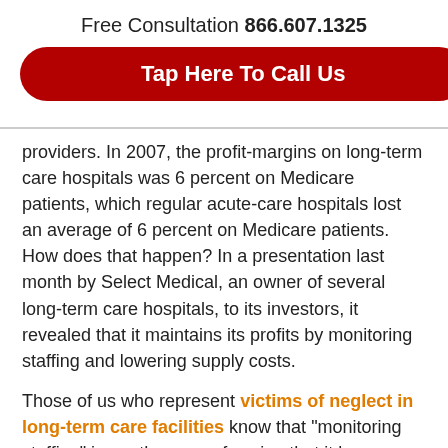Free Consultation 866.607.1325
[Figure (other): Red rounded button with white text: Tap Here To Call Us]
providers. In 2007, the profit-margins on long-term care hospitals was 6 percent on Medicare patients, which regular acute-care hospitals lost an average of 6 percent on Medicare patients. How does that happen? In a presentation last month by Select Medical, an owner of several long-term care hospitals, to its investors, it revealed that it maintains its profits by monitoring staffing and lowering supply costs.
Those of us who represent victims of neglect in long-term care facilities know that “monitoring staffing” is another way of saying that it keeps staffing levels at the lowest numbers allowable by law. That usually means a lower quality of care.